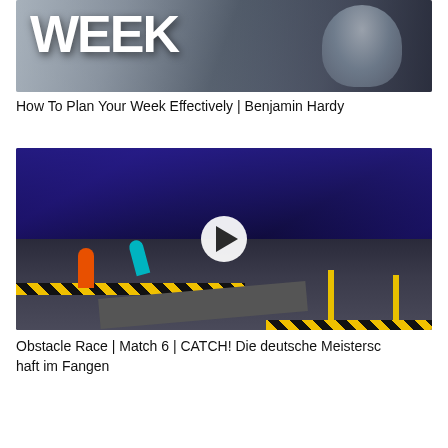[Figure (photo): Thumbnail image showing a person in dark athletic hoodie with large white bold text 'WEEK' overlaid on a grey background, partially visible title 'Plan Your Week']
How To Plan Your Week Effectively | Benjamin Hardy
[Figure (photo): Video thumbnail of an obstacle race course with people in bright athletic wear (orange and cyan) running on a black and yellow striped obstacle course in an arena with blue-lit audience. A white circular play button is overlaid in the center.]
Obstacle Race | Match 6 | CATCH! Die deutsche Meisterschaft im Fangen